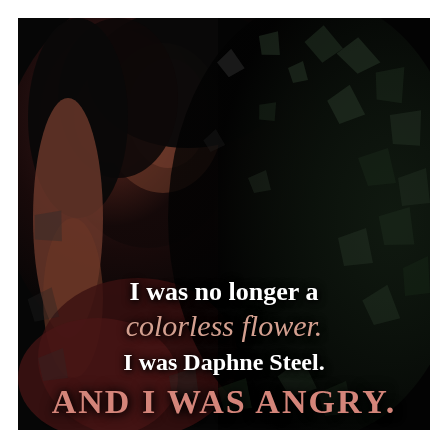[Figure (illustration): Dark atmospheric image of a woman with freckles resting her hand near her face, surrounded by shattered glass shards floating in a black background. The image has dark, moody tones with deep blacks and muted reds.]
I was no longer a colorless flower. I was Daphne Steel. AND I WAS ANGRY.